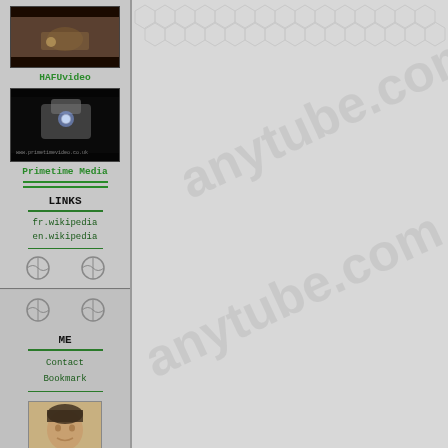[Figure (screenshot): Screenshot of a website sidebar with video thumbnails, navigation links and personal section]
HAFUvideo
[Figure (photo): Video thumbnail showing robotic machinery in dark setting with primetime media watermark]
Primetime Media
LINKS
fr.wikipedia
en.wikipedia
ME
Contact
Bookmark
[Figure (photo): Portrait photo of a person]